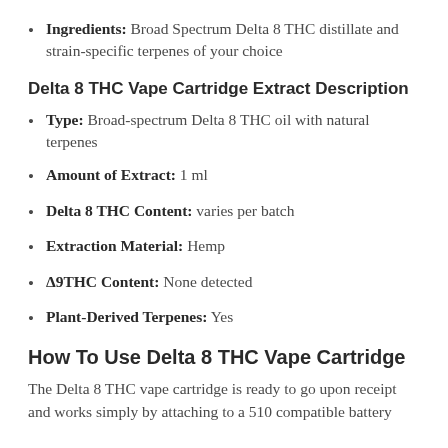Ingredients: Broad Spectrum Delta 8 THC distillate and strain-specific terpenes of your choice
Delta 8 THC Vape Cartridge Extract Description
Type: Broad-spectrum Delta 8 THC oil with natural terpenes
Amount of Extract: 1 ml
Delta 8 THC Content: varies per batch
Extraction Material: Hemp
Δ9THC Content: None detected
Plant-Derived Terpenes: Yes
How To Use Delta 8 THC Vape Cartridge
The Delta 8 THC vape cartridge is ready to go upon receipt and works simply by attaching to a 510 compatible battery